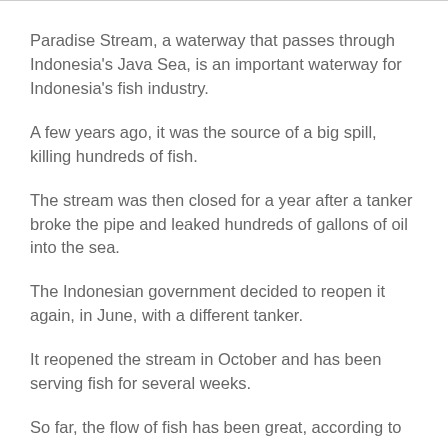Paradise Stream, a waterway that passes through Indonesia's Java Sea, is an important waterway for Indonesia's fish industry.
A few years ago, it was the source of a big spill, killing hundreds of fish.
The stream was then closed for a year after a tanker broke the pipe and leaked hundreds of gallons of oil into the sea.
The Indonesian government decided to reopen it again, in June, with a different tanker.
It reopened the stream in October and has been serving fish for several weeks.
So far, the flow of fish has been great, according to